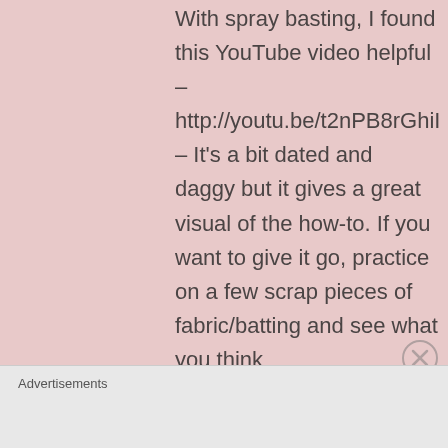With spray basting, I found this YouTube video helpful – http://youtu.be/t2nPB8rGhiI – It's a bit dated and daggy but it gives a great visual of the how-to. If you want to give it go, practice on a few scrap pieces of fabric/batting and see what you think
Advertisements